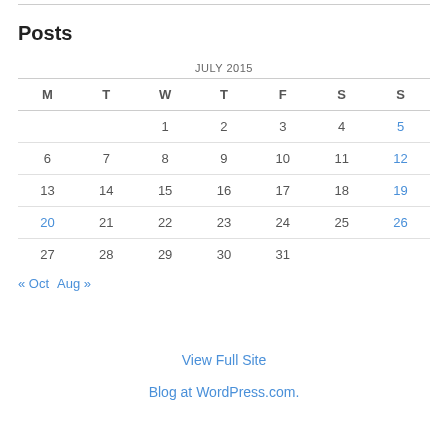Posts
| M | T | W | T | F | S | S |
| --- | --- | --- | --- | --- | --- | --- |
|  |  | 1 | 2 | 3 | 4 | 5 |
| 6 | 7 | 8 | 9 | 10 | 11 | 12 |
| 13 | 14 | 15 | 16 | 17 | 18 | 19 |
| 20 | 21 | 22 | 23 | 24 | 25 | 26 |
| 27 | 28 | 29 | 30 | 31 |  |  |
« Oct   Aug »
View Full Site
Blog at WordPress.com.